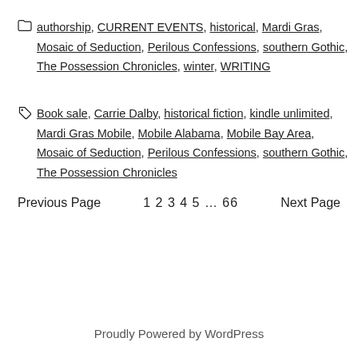authorship, CURRENT EVENTS, historical, Mardi Gras, Mosaic of Seduction, Perilous Confessions, southern Gothic, The Possession Chronicles, winter, WRITING
Book sale, Carrie Dalby, historical fiction, kindle unlimited, Mardi Gras Mobile, Mobile Alabama, Mobile Bay Area, Mosaic of Seduction, Perilous Confessions, southern Gothic, The Possession Chronicles
Previous Page  1 2 3 4 5 … 66  Next Page
Proudly Powered by WordPress